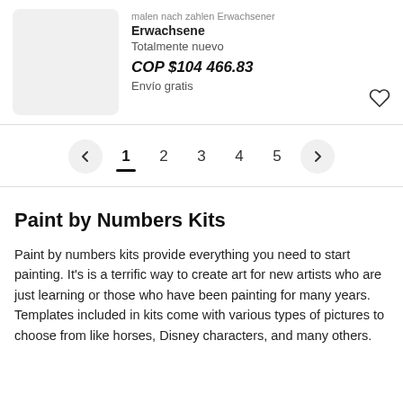...malen nach zahlen Erwachsene
Totalmente nuevo
COP $104 466.83
Envío gratis
← 1 2 3 4 5 →
Paint by Numbers Kits
Paint by numbers kits provide everything you need to start painting. It's is a terrific way to create art for new artists who are just learning or those who have been painting for many years. Templates included in kits come with various types of pictures to choose from like horses, Disney characters, and many others.